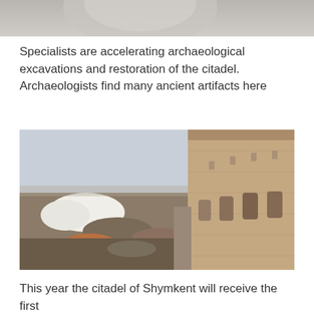[Figure (photo): Top portion of an archaeological artifact photo, partially cropped at the top of the page]
Specialists are accelerating archaeological excavations and restoration of the citadel. Archaeologists find many ancient artifacts here
[Figure (photo): Excavation site at the citadel of Shymkent showing dirt mounds, a white tent structure on the left, and a large restored brick wall on the right with arched doorways]
This year the citadel of Shymkent will receive the first